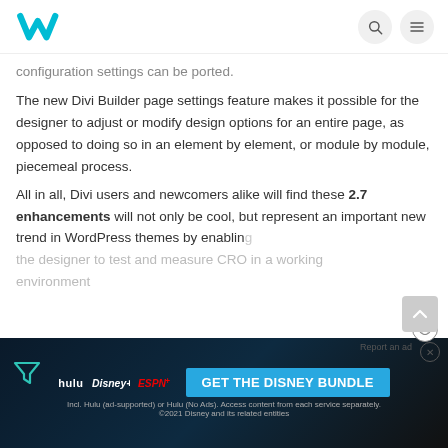W [logo] [search icon] [menu icon]
configuration settings can be ported.
The new Divi Builder page settings feature makes it possible for the designer to adjust or modify design options for an entire page, as opposed to doing so in an element by element, or module by module, piecemeal process.
All in all, Divi users and newcomers alike will find these 2.7 enhancements will not only be cool, but represent an important new trend in WordPress themes by enabling the designer to test and measure CRO in a working environment.
[Figure (screenshot): Disney Bundle advertisement with Hulu, Disney+, and ESPN+ logos and 'GET THE DISNEY BUNDLE' call to action button]